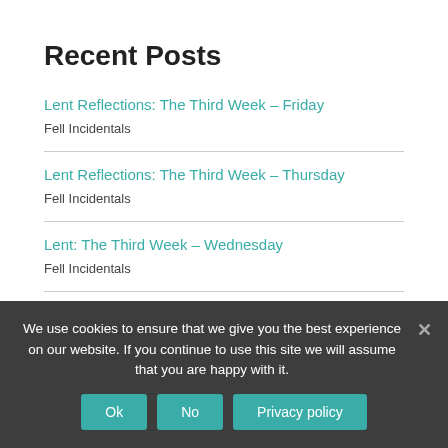Recent Posts
Lent Reflections: The Third Week – Friday
Fell Incidentals
Lent Reflections: The Third Week – Thursday
Fell Incidentals
Lent: The Third Week – Wednesday
Fell Incidentals
Lent: The Third Week – Tuesday
We use cookies to ensure that we give you the best experience on our website. If you continue to use this site we will assume that you are happy with it.